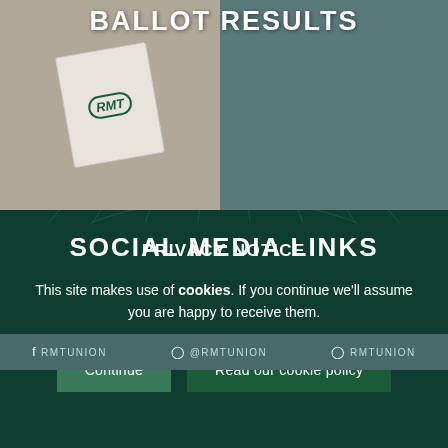BALLOT RESULTS
[Figure (illustration): Illustration of an RMT ballot card being inserted, with the RMT union logo visible on the card. Background is taupe/beige color.]
SOCIAL MEDIA LINKS
f RMTUNION  @RMTUNION  RMTUNION
PRIVACY NOTICE
This site makes use of cookies. If you continue we'll assume you are happy to receive them.
Continue  Read our cookie policy